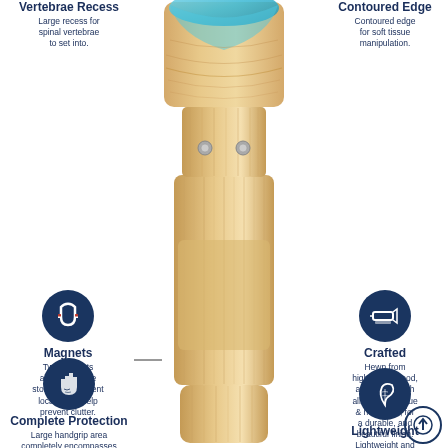[Figure (infographic): Product infographic showing a wooden massage/chiropractic tool with labeled features: Vertebrae Recess, Contoured Edge, Magnets, Crafted, Complete Protection, Lightweight. The tool is made of light wood with blue resin inlay at top. Feature callouts with dark navy circular icons surround a central product photo.]
Vertebrae Recess
Large recess for spinal vertebrae to set into.
Contoured Edge
Contoured edge for soft tissue manipulation.
Magnets
Two magnets allow tool to be stored in covenient location, to help prevent clutter.
Crafted
Hewn from high-grade wood, and sealed with all natural tongue & hemp oils, for a durable, and beautiful finish.
Complete Protection
Large handgrip area completely encompasses
Lightweight
Lightweight and